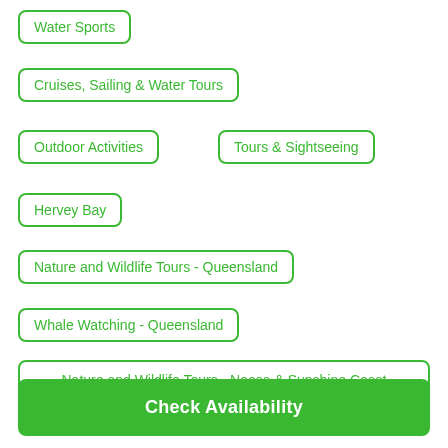Water Sports
Cruises, Sailing & Water Tours
Outdoor Activities
Tours & Sightseeing
Hervey Bay
Nature and Wildlife Tours - Queensland
Whale Watching - Queensland
Nature and Wildlife Tours - Noosa & Sunshine Coast
Check Availability